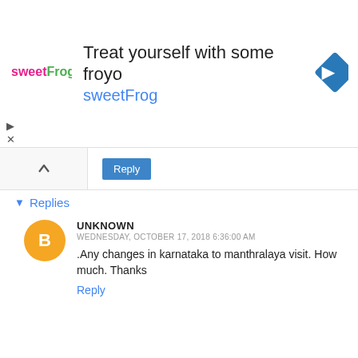[Figure (screenshot): Advertisement banner for sweetFrog frozen yogurt with logo, headline text, brand name in blue, and a blue diamond navigation icon]
Reply
▾ Replies
UNKNOWN
WEDNESDAY, OCTOBER 17, 2018 6:36:00 AM
.Any changes in karnataka to manthralaya visit. How much. Thanks
Reply
SHRINIDHI HANDE
SATURDAY, JANUARY 02, 2016 9:02:00 AM
I think it is about Rs 200 or so for small cars. Do not know the exact amount, but it is not huge. Zoom car says it will reimburse Andhra permit fee.
Reply